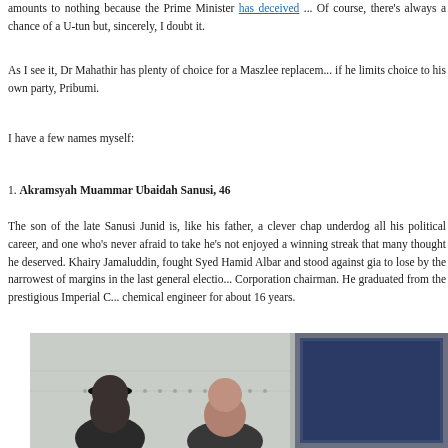amounts to nothing because the Prime Minister has deceived ... Of course, there's always a chance of a U-tun but, sincerely, I doubt it.
As I see it, Dr Mahathir has plenty of choice for a Maszlee replacement if he limits choice to his own party, Pribumi.
I have a few names myself:
1. Akramsyah Muammar Ubaidah Sanusi, 46
The son of the late Sanusi Junid is, like his father, a clever chap who's been an underdog all his political career, and one who's never afraid to take on big names. But he's not enjoyed a winning streak that many thought he deserved. He took on Khairy Jamaluddin, fought Syed Hamid Albar and stood against giants, and managed to lose by the narrowest of margins in the last general election. He is a Petronas Corporation chairman. He graduated from the prestigious Imperial C... and worked as a chemical engineer for about 16 years.
[Figure (photo): Two men in an office or lobby setting with glass walls and what appears to be a screen or panel on the right side.]